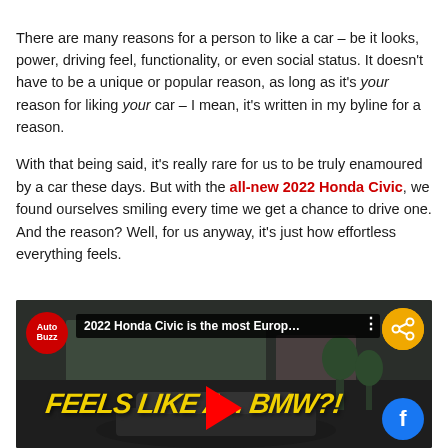There are many reasons for a person to like a car – be it looks, power, driving feel, functionality, or even social status. It doesn't have to be a unique or popular reason, as long as it's your reason for liking your car – I mean, it's written in my byline for a reason.
With that being said, it's really rare for us to be truly enamoured by a car these days. But with the all-new 2022 Honda Civic, we found ourselves smiling every time we get a chance to drive one. And the reason? Well, for us anyway, it's just how effortless everything feels.
[Figure (screenshot): YouTube video thumbnail for AutoBuzz channel showing '2022 Honda Civic is the most Europ...' with large yellow text 'FEELS LIKE A... BMW?!' overlaid on a car scene, with social share buttons.]